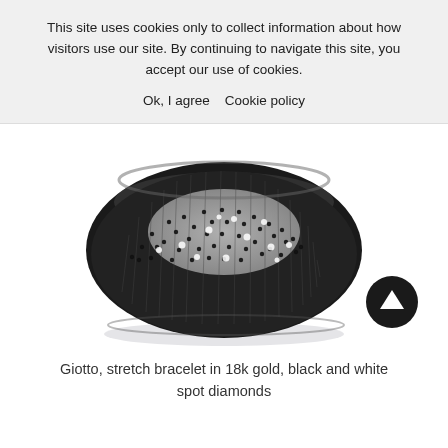This site uses cookies only to collect information about how visitors use our site. By continuing to navigate this site, you accept our use of cookies.
Ok, I agree   Cookie policy
[Figure (photo): A luxury stretch bracelet in 18k gold with black and white spot diamonds, shown from a 3/4 angle on a white background. The bracelet has an oval shape with a wide band covered in black diamonds with scattered white diamond spots and vertical ribbed texture.]
[Figure (other): Black circular back-to-top button with white upward arrow icon]
Giotto, stretch bracelet in 18k gold, black and white spot diamonds